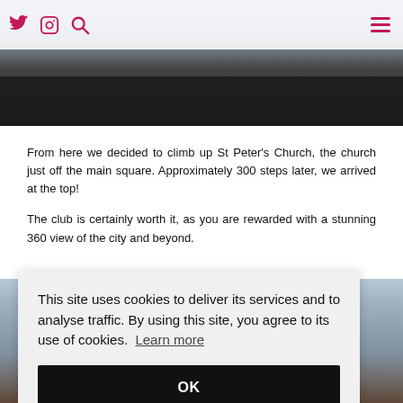Twitter | Instagram | Search | Menu
[Figure (photo): Crowd of people outdoors in a public square, bright daylight, photojournalistic style]
From here we decided to climb up St Peter’s Church, the church just off the main square. Approximately 300 steps later, we arrived at the top!
The club is certainly worth it, as you are rewarded with a stunning 360 view of the city and beyond.
[Figure (photo): Aerial view of a European city with rooftops visible below a blue sky, taken from St Peter's Church tower]
This site uses cookies to deliver its services and to analyse traffic. By using this site, you agree to its use of cookies.  Learn more
OK